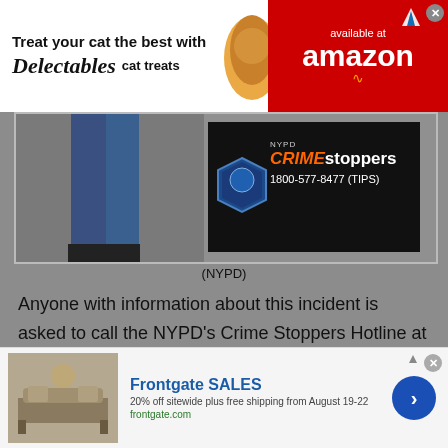[Figure (screenshot): Advertisement banner: 'Treat your cat the best with Delectables cat treats' with cat photo and Amazon logo on red background]
[Figure (photo): NYPD Crime Stoppers image with police badge logo showing '1800-577-8477 (TIPS)' and partial view of person]
(NYPD)
Anyone with information about this incident is asked to call the NYPD’s Crime Stoppers Hotline at 1-800-577-TIPS (8477) or for Spanish, 1-888-57-PISTA (74782). The public can also submit their tips by logging onto the CrimeStoppers website at
[Figure (screenshot): Advertisement: Frontgate SALES - 20% off sitewide plus free shipping from August 19-22, frontgate.com]